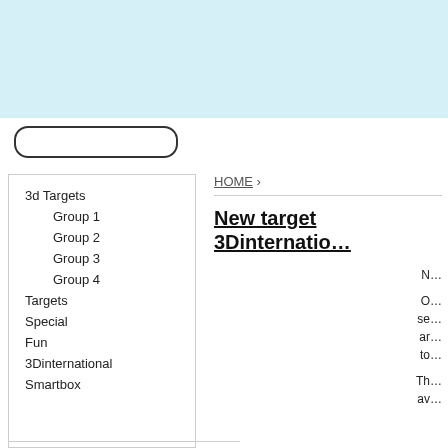[Figure (other): Light blue header banner at top of page]
[Figure (other): Search input box with rounded border]
3d Targets
Group 1
Group 2
Group 3
Group 4
Targets
Special
Fun
3Dinternational
Smartbox
HOME ›
New target 3Dinternatio...
N...
O... se... ar... to...
Th... av...